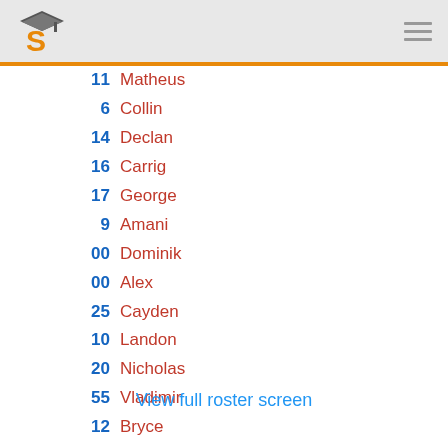S (logo) with hamburger menu
| Number | Name |
| --- | --- |
| 11 | Matheus |
| 6 | Collin |
| 14 | Declan |
| 16 | Carrig |
| 17 | George |
| 9 | Amani |
| 00 | Dominik |
| 00 | Alex |
| 25 | Cayden |
| 10 | Landon |
| 20 | Nicholas |
| 55 | Vladimir |
| 12 | Bryce |
| 7 | Diego |
| 26 | Hayes |
| 24 | Alexander |
View full roster screen